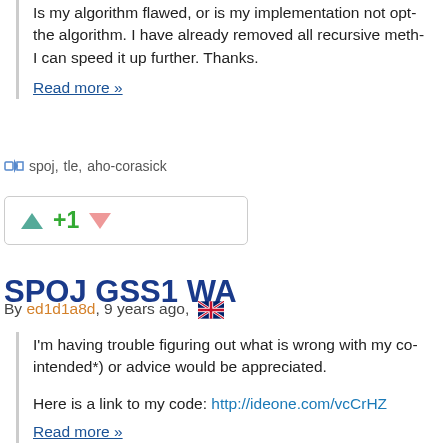Is my algorithm flawed, or is my implementation not opt... the algorithm. I have already removed all recursive meth... I can speed it up further. Thanks.
Read more »
spoj,  tle,  aho-corasick
+1
SPOJ GSS1 WA
By ed1d1a8d, 9 years ago, 🇬🇧
I'm having trouble figuring out what is wrong with my co... intended*) or advice would be appreciated.

Here is a link to my code: http://ideone.com/vcCrHZ
Read more »